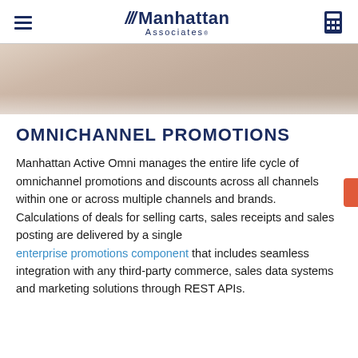Manhattan Associates
[Figure (photo): Partial hero image showing people, faded/cropped at bottom]
OMNICHANNEL PROMOTIONS
Manhattan Active Omni manages the entire life cycle of omnichannel promotions and discounts across all channels within one or across multiple channels and brands. Calculations of deals for selling carts, sales receipts and sales posting are delivered by a single enterprise promotions component that includes seamless integration with any third-party commerce, sales data systems and marketing solutions through REST APIs.